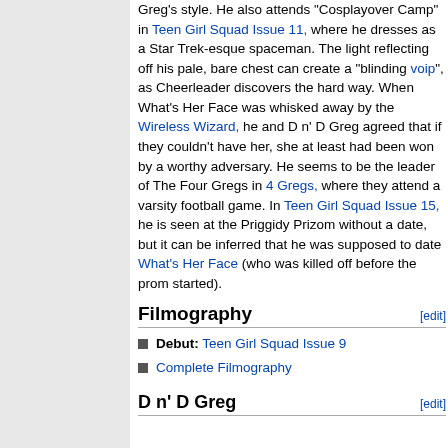Greg's style. He also attends "Cosplayover Camp" in Teen Girl Squad Issue 11, where he dresses as a Star Trek-esque spaceman. The light reflecting off his pale, bare chest can create a "blinding voip", as Cheerleader discovers the hard way. When What's Her Face was whisked away by the Wireless Wizard, he and D n' D Greg agreed that if they couldn't have her, she at least had been won by a worthy adversary. He seems to be the leader of The Four Gregs in 4 Gregs, where they attend a varsity football game. In Teen Girl Squad Issue 15, he is seen at the Priggidy Prizom without a date, but it can be inferred that he was supposed to date What's Her Face (who was killed off before the prom started).
Filmography
Debut: Teen Girl Squad Issue 9
Complete Filmography
D n' D Greg